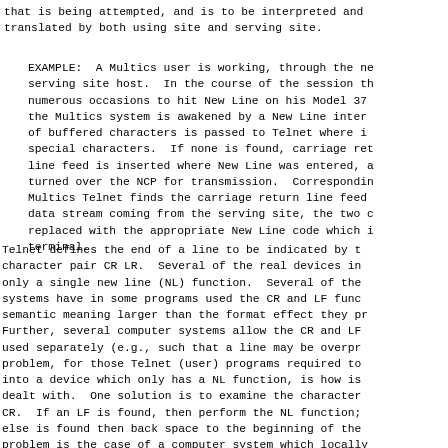that is being attempted, and is to be interpreted and translated by both using site and serving site.
EXAMPLE:  A Multics user is working, through the network, with a serving site host.  In the course of the session the user is required on numerous occasions to hit New Line on his Model 37 terminal.  Each time the Multics system is awakened by a New Line interrupt, a buffer of buffered characters is passed to Telnet where it is scanned for special characters.  If none is found, carriage return followed by line feed is inserted where New Line was entered, and the buffer is turned over the NCP for transmission.  Correspondingly, when the Multics Telnet finds the carriage return line feed combination in the data stream coming from the serving site, the two characters are replaced with the appropriate New Line code which is sent to the terminal.
Telnet defines the end of a line to be indicated by the two character pair CR LR.  Several of the real devices in the network have only a single new line (NL) function.  Several of the operating systems have in some programs used the CR and LF functions with semantic meaning larger than the format effect they produce. Further, several computer systems allow the CR and LF functions used separately (e.g., such that a line may be overprinted).  A problem, for those Telnet (user) programs required to map Telnet into a device which only has a NL function, is how is CR followed by dealt with.  One solution is to examine the character following the CR.  If an LF is found, then perform the NL function; if something else is found then back space to the beginning of the line.  Another problem is the case of a computer system which locally uses only a ".", to cause the new line function and which uses, in its Telnet, CR and LF for essentially insignificant operations.